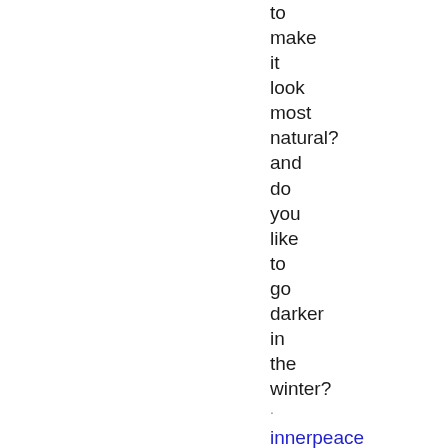to make it look most natural? and do you like to go darker in the winter?
· innerpeace on 07/01/2019: I love kittens/cats and all things furry. I